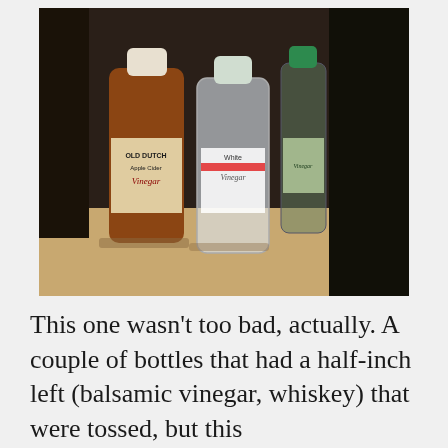[Figure (photo): Photograph of several bottles of vinegar (including Old Dutch brand and a white vinegar bottle) and other bottles stored on a shelf or counter, shot from above in low light.]
This one wasn't too bad, actually. A couple of bottles that had a half-inch left (balsamic vinegar, whiskey) that were tossed, but this